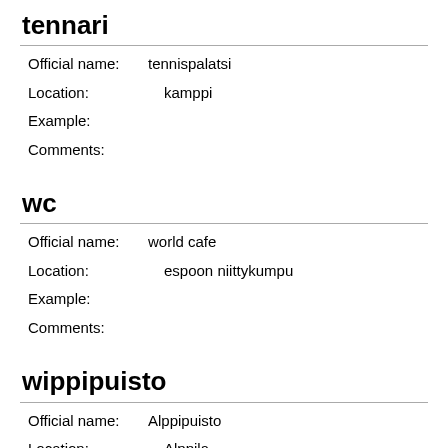tennari
Official name: tennispalatsi
Location: kamppi
Example:
Comments:
wc
Official name: world cafe
Location: espoon niittykumpu
Example:
Comments:
wippipuisto
Official name: Alppipuisto
Location: Alppila
Example: